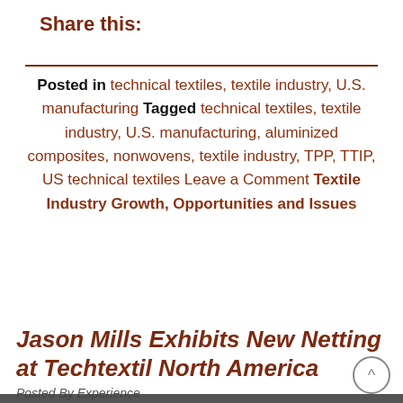Share this:
Posted in technical textiles, textile industry, U.S. manufacturing Tagged technical textiles, textile industry, U.S. manufacturing, aluminized composites, nonwovens, textile industry, TPP, TTIP, US technical textiles Leave a Comment Textile Industry Growth, Opportunities and Issues
Jason Mills Exhibits New Netting at Techtextil North America
Posted By Experience
At Jason Mills is excited to exhibit for Techtextil North America! This year (OCTOBER) at the George R. Brown Convention Center in Houston, TX from June 2-
This website stores cookies on your computer. These cookies are used to collect information about how you interact with our website and allow us to remember you. We use this information in order to improve and customize your browsing experience and for analytics and metrics about our visitors both on this website and other media. To find out more about the cookies we use, see our Privacy Policy.